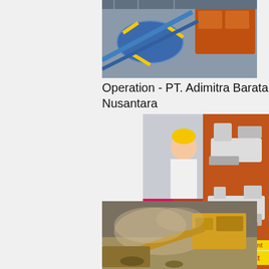[Figure (photo): Aerial/overhead view of industrial mining or processing machinery with blue cylindrical drum, yellow cables, and orange/red industrial equipment]
Operation - PT. Adimitra Baratama Nusantara
[Figure (photo): Live chat popup overlay showing workers in yellow hard hats and a smiling woman in white shirt, with LIVE CHAT header in red italic text, Chat now and Chat later buttons]
[Figure (photo): Right side advertisement panel showing mining/crushing machinery images, Enjoy 3% discount and Click to Chat in yellow, Enquiry section with email limingjlmofen@sina.com on orange background]
[Figure (photo): Bottom photo of mining/crushing operation with heavy machinery and dust in outdoor setting]